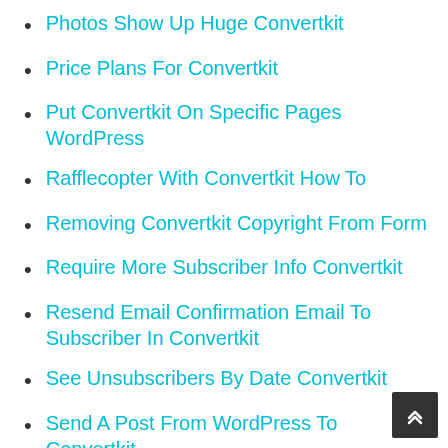Photos Show Up Huge Convertkit
Price Plans For Convertkit
Put Convertkit On Specific Pages WordPress
Rafflecopter With Convertkit How To
Removing Convertkit Copyright From Form
Require More Subscriber Info Convertkit
Resend Email Confirmation Email To Subscriber In Convertkit
See Unsubscribers By Date Convertkit
Send A Post From WordPress To Convertkit
Send Email With Convertkit